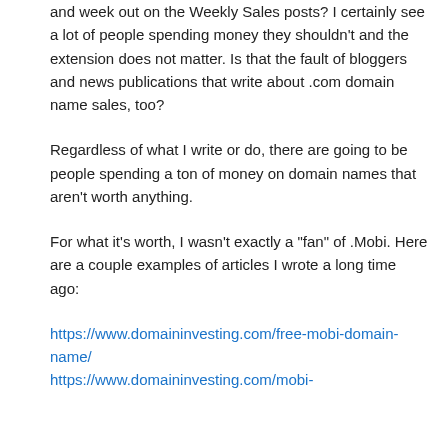and week out on the Weekly Sales posts? I certainly see a lot of people spending money they shouldn't and the extension does not matter. Is that the fault of bloggers and news publications that write about .com domain name sales, too?
Regardless of what I write or do, there are going to be people spending a ton of money on domain names that aren't worth anything.
For what it's worth, I wasn't exactly a "fan" of .Mobi. Here are a couple examples of articles I wrote a long time ago:
https://www.domaininvesting.com/free-mobi-domain-name/
https://www.domaininvesting.com/mobi-